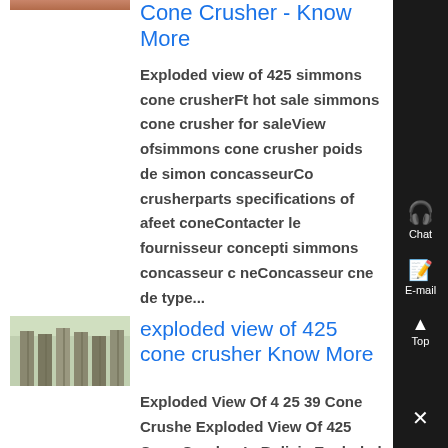Cone Crusher - Know More
Exploded view of 425 simmons cone crusherFt hot sale simmons cone crusher for saleView ofsimmons cone crusher poids de simon concasseurCo crusherparts specifications of afeet coneContacter le fournisseur concepti simmons concasseur c neConcasseur cne de type...
[Figure (photo): Thumbnail photo of industrial pipes/silos]
exploded view of 425 cone crusher Know More
Exploded View Of 4 25 39 Cone Crushe Exploded View Of 425 Cone Crusher In Bolivia Exploded view of 425 039 039